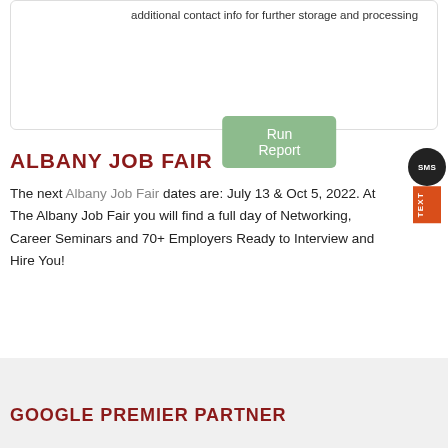additional contact info for further storage and processing
[Figure (other): Green 'Run Report' button]
ALBANY JOB FAIR
The next Albany Job Fair dates are: July 13 & Oct 5, 2022. At The Albany Job Fair you will find a full day of Networking, Career Seminars and 70+ Employers Ready to Interview and Hire You!
GOOGLE PREMIER PARTNER